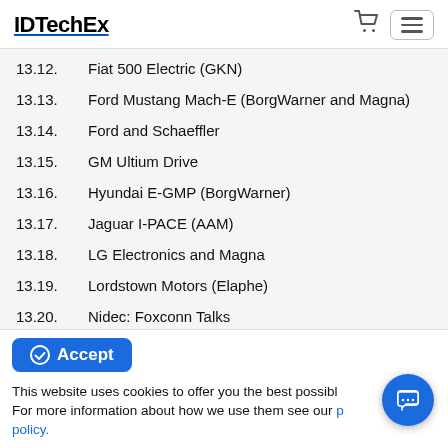IDTechEx
13.12.    Fiat 500 Electric (GKN)
13.13.    Ford Mustang Mach-E (BorgWarner and Magna)
13.14.    Ford and Schaeffler
13.15.    GM Ultium Drive
13.16.    Hyundai E-GMP (BorgWarner)
13.17.    Jaguar I-PACE (AAM)
13.18.    LG Electronics and Magna
13.19.    Lordstown Motors (Elaphe)
13.20.    Nidec: Foxconn Talks
13.21.    Nissan Leaf
13.22.    Opel/Peugeot and Vitesco
This website uses cookies to offer you the best possible. For more information about how we use them see our privacy policy.